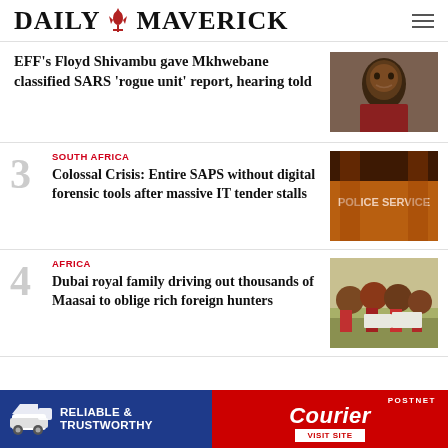DAILY MAVERICK
EFF's Floyd Shivambu gave Mkhwebane classified SARS 'rogue unit' report, hearing told
[Figure (photo): Close-up photo of a person speaking]
SOUTH AFRICA
Colossal Crisis: Entire SAPS without digital forensic tools after massive IT tender stalls
[Figure (photo): Photo of police sign with fire in background]
AFRICA
Dubai royal family driving out thousands of Maasai to oblige rich foreign hunters
[Figure (photo): Photo of Maasai people holding protest signs]
[Figure (infographic): PostNet Courier advertisement banner - RELIABLE & TRUSTWORTHY, VISIT SITE]